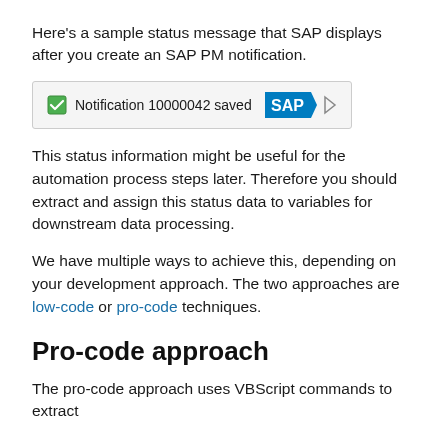Here's a sample status message that SAP displays after you create an SAP PM notification.
[Figure (screenshot): SAP status bar screenshot showing a green checkbox icon followed by 'Notification 10000042 saved', the SAP logo in blue, and a right-pointing triangle/arrow on the right.]
This status information might be useful for the automation process steps later. Therefore you should extract and assign this status data to variables for downstream data processing.
We have multiple ways to achieve this, depending on your development approach. The two approaches are low-code or pro-code techniques.
Pro-code approach
The pro-code approach uses VBScript commands to extract